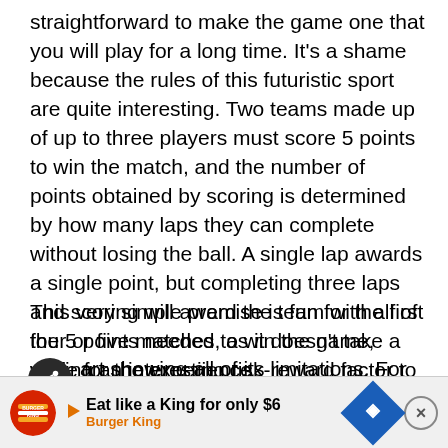straightforward to make the game one that you will play for a long time. It's a shame because the rules of this futuristic sport are quite interesting. Two teams made up of up to three players must score 5 points to win the match, and the number of points obtained by scoring is determined by how many laps they can complete without losing the ball. A single lap awards a single point, but completing three laps and scoring will award the team with all of the 5 points needed to win the game, adding an interesting risk-reward factor to the entire experience.
This very simple premise is fun for the first four or five matches, as it doesn't take a while for the experience to start showing all of its limitations. For starters, the amount of both offensive and defensive options are extrem[ely limited, which can t]o perfor[m...] ackle
[Figure (other): Burger King advertisement banner at bottom of page: 'Eat like a King for only $6 / Burger King' with logos, play button, navigation arrow icon, and close button]